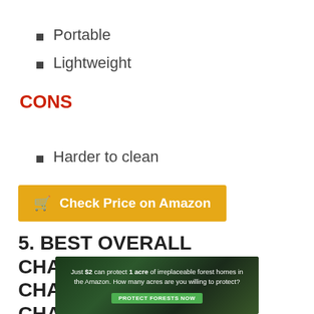Portable
Lightweight
CONS
Harder to clean
Check Price on Amazon
5. BEST OVERALL CHARCOAL GRILL: CHAR-GRILLER E06614 CHARCOAL
[Figure (photo): Advertisement banner: Just $2 can protect 1 acre of irreplaceable forest homes in the Amazon. How many acres are you willing to protect? PROTECT FORESTS NOW]